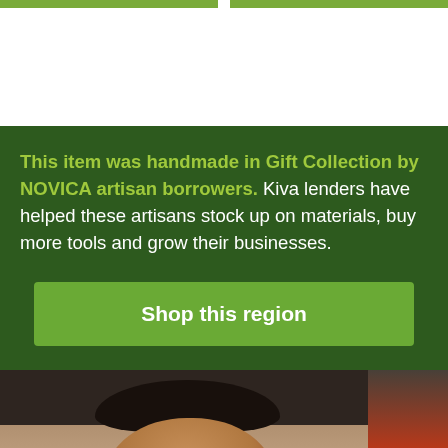[Figure (photo): Two cropped green/nature images side by side at the top of the page (partial view, cut off)]
This item was handmade in Gift Collection by NOVICA artisan borrowers. Kiva lenders have helped these artisans stock up on materials, buy more tools and grow their businesses.
Shop this region
[Figure (photo): Photo of a smiling Southeast Asian artisan woman in a white shirt working, with a partial view of another person in red on the right, and a Back to top button overlay]